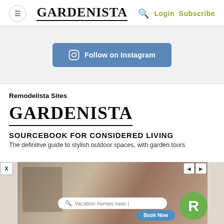GARDENISTA — Login Subscribe
[Figure (screenshot): Blue 'Follow on Instagram' button with Instagram camera icon on a light grey background]
Remodelista Sites
GARDENISTA
SOURCEBOOK FOR CONSIDERED LIVING
The definitive guide to stylish outdoor spaces, with garden tours
[Figure (advertisement): Advertisement overlay showing a kitchen scene with Vacation homes search bar and Book Now button, with green R badge]